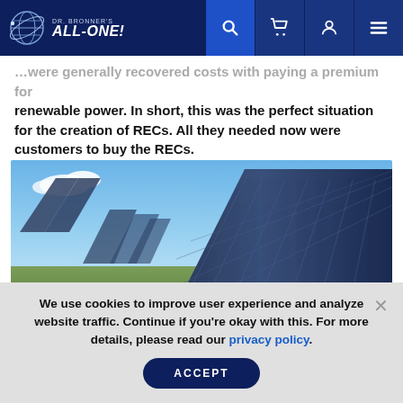Dr. Bronner's All-One! navigation bar with logo, search, cart, account, and menu icons
...were generally recovered costs with paying a premium for renewable power. In short, this was the perfect situation for the creation of RECs. All they needed now were customers to buy the RECs.
[Figure (photo): Outdoor solar panel farm with multiple large tilted solar panels under a clear blue sky with some clouds, green grass visible on the ground]
We use cookies to improve user experience and analyze website traffic. Continue if you're okay with this. For more details, please read our privacy policy.
ACCEPT